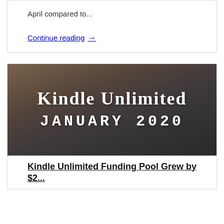April compared to...
Continue reading →
[Figure (illustration): Background photo of a calculator, financial papers, and colorful envelopes with overlay text 'Kindle Unlimited JANUARY 2020']
Kindle Unlimited Funding Pool Grew by $2...